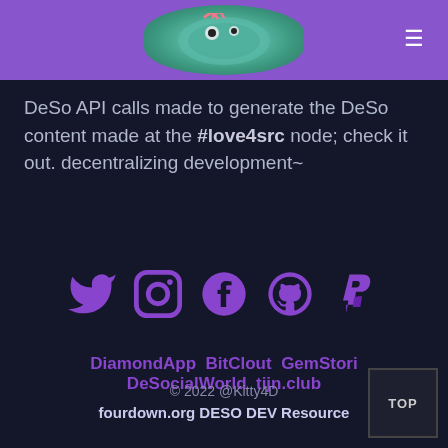[Figure (illustration): Purple header bar with a cartoon character logo (round teal creature) centered, and a hamburger menu icon on the right]
DeSo API calls made to generate the DeSo content made at the #love4src node; check it out. decentralizing development~
[Figure (infographic): Five social media icons in purple: Twitter bird, Instagram camera, Facebook f, GitHub octocat, PayPal P]
DiamondApp  BitClout  GemStori
DeSocialWorld  tijn.club
© 2022 @Kitty4D
fourdown.org DESO DEV Resource